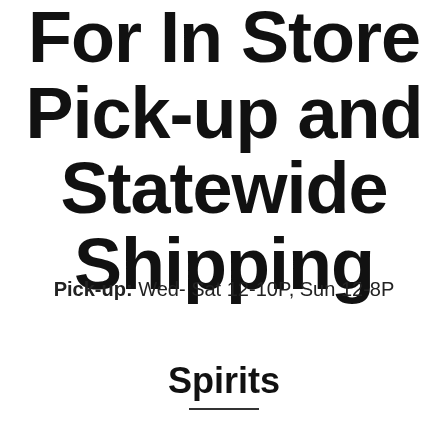For In Store Pick-up and Statewide Shipping
Pick-up: Wed- Sat 12-10P, Sun 12-8P
Spirits